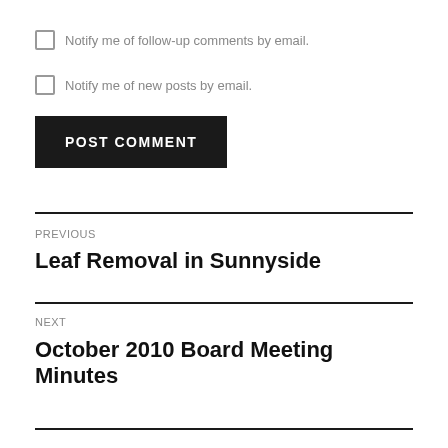Notify me of follow-up comments by email.
Notify me of new posts by email.
POST COMMENT
PREVIOUS
Leaf Removal in Sunnyside
NEXT
October 2010 Board Meeting Minutes